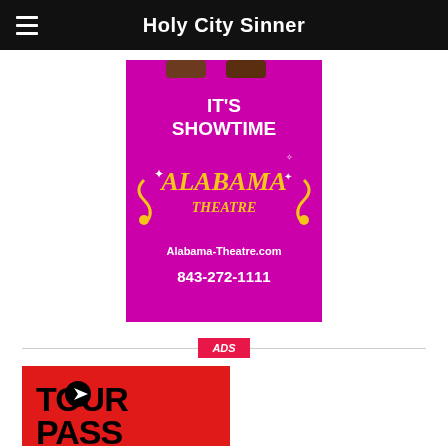Holy City Sinner
[Figure (illustration): Alabama Theatre advertisement on magenta/pink background. Text reads: IT'S SHOWTIME, Alabama Theatre logo, Alabama-Theatre.com, 843-272-1111]
ADS
[Figure (logo): Tour Pass logo on red background. Large black bold text: TOUR and partially visible PASS, with a navigation arrow icon.]